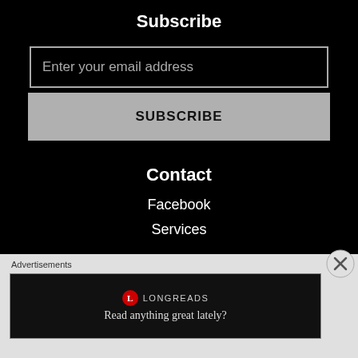Subscribe
Enter your email address
SUBSCRIBE
Contact
Facebook
Services
RMR Digital Photography
Advertisements
LONGREADS
Read anything great lately?